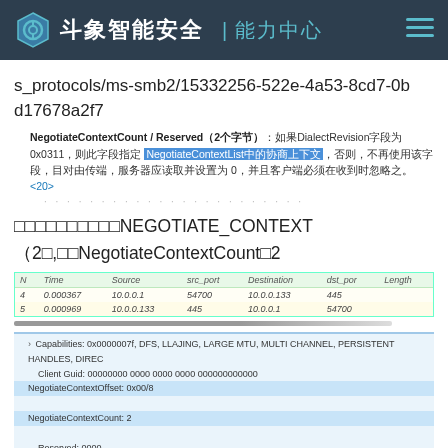斗象智能安全 | 能力中心
s_protocols/ms-smb2/15332256-522e-4a53-8cd7-0bd17678a2f7
NegotiateContextCount / Reserved（2个字节）：如果DialectRevision字段为0x0311，则此字段指定NegotiateContextList中的协商上下文，否则，不再使用该字段，目对由终端，服务器应读取并设置为0，并且客户端必须在收到时忽略之。<20>
……………………NEGOTIATE_CONTEXT（2个），即NegotiateContextCount＝2
[Figure (screenshot): Wireshark network capture table showing two packets: packet 4 (0.000367, 10.0.0.1, src_port 54700, destination 10.0.0.133, dst_port 445) and packet 5 (0.000969, 10.0.0.133, src_port 445, destination 10.0.0.1, dst_port 54700)]
[Figure (screenshot): Wireshark packet detail panel showing SMB2 Negotiate fields: Capabilities, Client Guid, NegotiateContextOffset: 0x00/8, NegotiateContextCount: 2, Reserved: 0000, Dialect: 0x0202]